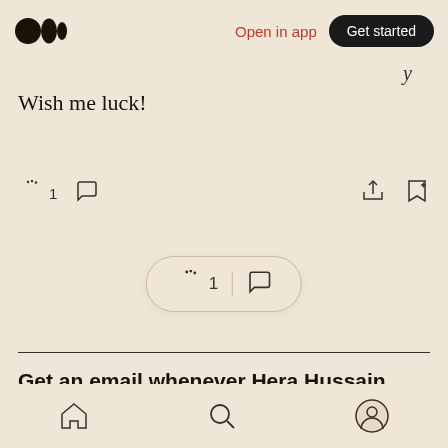Medium logo | Open in app | Get started
Wish me luck!
[Figure (screenshot): Social action bar with clap icon showing count 1, comment icon, share icon, and bookmark icon]
[Figure (screenshot): Floating pill showing clap icon with count 1 and comment icon]
Get an email whenever Hera Hussain publishes.
Bottom navigation bar with home, search, and profile icons